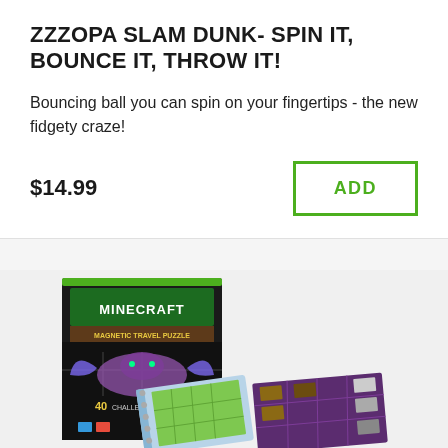ZZZOPA SLAM DUNK- SPIN IT, BOUNCE IT, THROW IT!
Bouncing ball you can spin on your fingertips - the new fidgety craze!
$14.99
ADD
[Figure (photo): Minecraft Magnetic Travel Puzzle product box with 40 challenges shown alongside the open puzzle board with pieces placed on it]